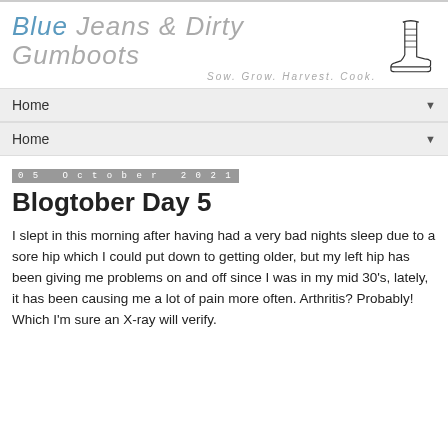[Figure (logo): Blue Jeans & Dirty Gumboots blog logo with a gumboot illustration and tagline 'Sow. Grow. Harvest. Cook.']
Home ▼
Home ▼
05 October 2021
Blogtober Day 5
I slept in this morning after having had a very bad nights sleep due to a sore hip which I could put down to getting older, but my left hip has been giving me problems on and off since I was in my mid 30's, lately, it has been causing me a lot of pain more often. Arthritis? Probably! Which I'm sure an X-ray will verify.